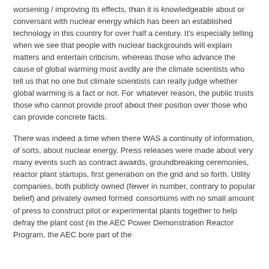worsening / improving its effects, than it is knowledgeable about or conversant with nuclear energy which has been an established technology in this country for over half a century. It's especially telling when we see that people with nuclear backgrounds will explain matters and entertain criticism, whereas those who advance the cause of global warming most avidly are the climate scientists who tell us that no one but climate scientists can really judge whether global warming is a fact or not. For whatever reason, the public trusts those who cannot provide proof about their position over those who can provide concrete facts.
There was indeed a time when there WAS a continuity of information, of sorts, about nuclear energy. Press releases were made about very many events such as contract awards, groundbreaking ceremonies, reactor plant startups, first generation on the grid and so forth. Utility companies, both publicly owned (fewer in number, contrary to popular belief) and privately owned formed consortiums with no small amount of press to construct pilot or experimental plants together to help defray the plant cost (in the AEC Power Demonstration Reactor Program, the AEC bore part of the